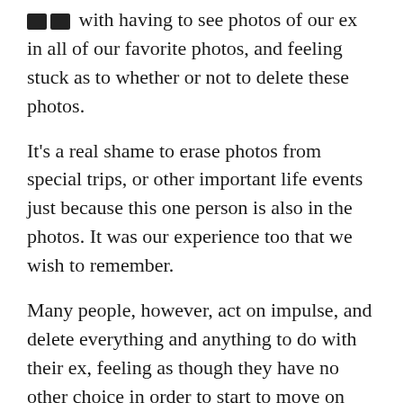with having to see photos of our ex in all of our favorite photos, and feeling stuck as to whether or not to delete these photos.
It's a real shame to erase photos from special trips, or other important life events just because this one person is also in the photos. It was our experience too that we wish to remember.
Many people, however, act on impulse, and delete everything and anything to do with their ex, feeling as though they have no other choice in order to start to move on with their lives, and heal their hearts.
Well, thanks to a brand-new service, we can now keep our most precious photos, even post-breakup. The online service is called Edit My Ex.